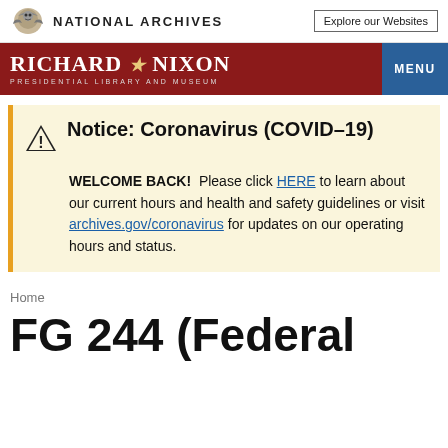NATIONAL ARCHIVES   Explore our Websites
RICHARD NIXON PRESIDENTIAL LIBRARY AND MUSEUM   MENU
Notice: Coronavirus (COVID-19)
WELCOME BACK! Please click HERE to learn about our current hours and health and safety guidelines or visit archives.gov/coronavirus for updates on our operating hours and status.
Home
FG 244 (Federal